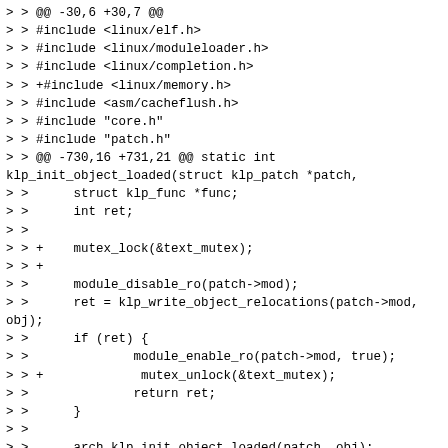> > @@ -30,6 +30,7 @@
> > #include <linux/elf.h>
> > #include <linux/moduleloader.h>
> > #include <linux/completion.h>
> > +#include <linux/memory.h>
> > #include <asm/cacheflush.h>
> > #include "core.h"
> > #include "patch.h"
> > @@ -730,16 +731,21 @@ static int klp_init_object_loaded(struct klp_patch *patch,
> >      struct klp_func *func;
> >      int ret;
> >
> > +    mutex_lock(&text_mutex);
> > +
> >      module_disable_ro(patch->mod);
> >      ret = klp_write_object_relocations(patch->mod, obj);
> >      if (ret) {
> >              module_enable_ro(patch->mod, true);
> > +             mutex_unlock(&text_mutex);
> >              return ret;
> >      }
> >
> >      arch_klp_init_object_loaded(patch, obj);
> >      module_enable_ro(patch->mod, true);
> >
> > +    mutex_unlock(&text_mutex);
> > +
> >      klp_for_each_func(obj, func) {